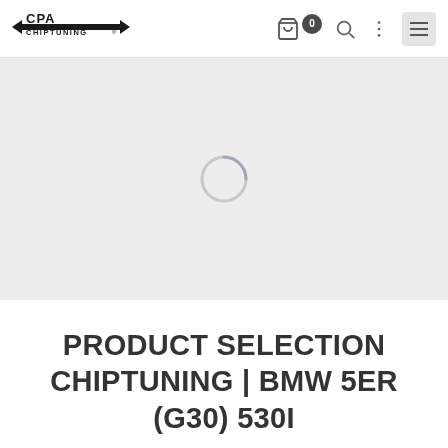[Figure (logo): CPA Chiptuning logo with arrows on both sides]
[Figure (screenshot): Loading spinner (circular arc) on light grey background, indicating an image is loading]
PRODUCT SELECTION CHIPTUNING | BMW 5ER (G30) 530I